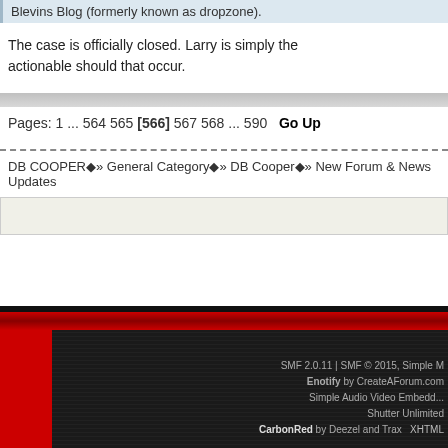Blevins Blog (formerly known as dropzone).
The case is officially closed. Larry is simply the actionable should that occur.
Pages: 1 ... 564 565 [566] 567 568 ... 590   Go Up
DB COOPER » General Category » DB Cooper » New Forum & News Updates
SMF 2.0.11 | SMF © 2015, Simple M
Enotify by CreateAForum.com
Simple Audio Video Embedd...
Shutter Unlimited
CarbonRed by Deezel and Trax   XHTML